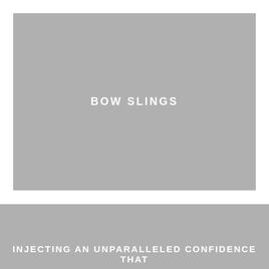[Figure (photo): Gray placeholder image for bow slings product category with white bold text 'BOW SLINGS' centered]
BOW SLINGS
INJECTING AN UNPARALLELED CONFIDENCE THAT